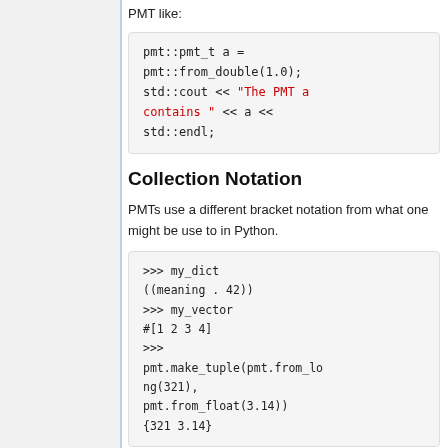PMT like:
pmt::pmt_t a =
pmt::from_double(1.0);
std::cout << "The PMT a contains " << a <<
std::endl;
Collection Notation
PMTs use a different bracket notation from what one might be use to in Python.
>>> my_dict
((meaning . 42))
>>> my_vector
#[1 2 3 4]
>>>
pmt.make_tuple(pmt.from_long(321),
pmt.from_float(3.14))
{321 3.14}